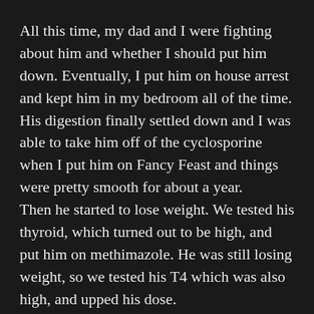All this time, my dad and I were fighting about him and whether I should put him down. Eventually, I put him on house arrest and kept him in my bedroom all of the time. His digestion finally settled down and I was able to take him off of the cyclosporine when I put him on Fancy Feast and things were pretty smooth for about a year.
Then he started to lose weight. We tested his thyroid, which turned out to be high, and put him on methimazole. He was still losing weight, so we tested his T4 which was also high, and upped his dose.
Then he started losing again. More with the...